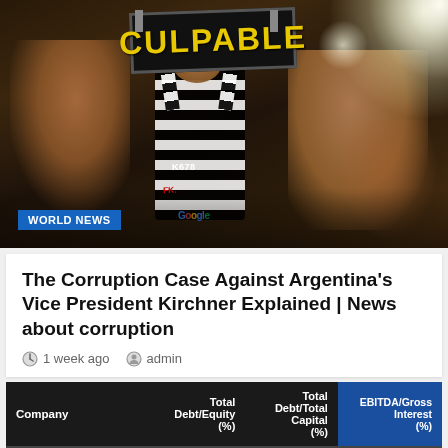[Figure (photo): Protest scene with a person in black-and-white striped costume holding a sign reading CULPABLE, amid a crowd at night with bright lights in the background.]
WORLD NEWS
The Corruption Case Against Argentina's Vice President Kirchner Explained | News about corruption
1 week ago   admin
| Company | Total Debt/Equity (%) | Total Debt/Total Capital (%) | EBITDA/Gross Interest (%) |
| --- | --- | --- | --- |
| Adani Enterprises | 154 | 61 | 1.6 |
| Adani Green Energy | 2,023 | 95 | 1.5 |
| Adani Ports and ... | 123 | 55 | 3.8 |